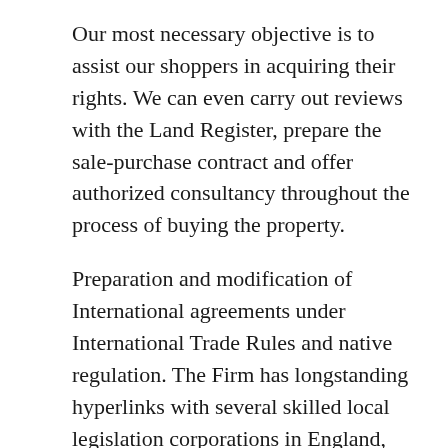Our most necessary objective is to assist our shoppers in acquiring their rights. We can even carry out reviews with the Land Register, prepare the sale-purchase contract and offer authorized consultancy throughout the process of buying the property.
Preparation and modification of International agreements under International Trade Rules and native regulation. The Firm has longstanding hyperlinks with several skilled local legislation corporations in England, Austria, Crotia, USA, UAE, Egypt, Saudia Arabia, Kazakhstan, Ukraine and Russia. Being a staff composed of professionalattorneys,we symbolize clients before the courtroom, jurisdictional authorities, public administration bodies, institutions, and different legal entities. The final goal is to not just serve as an emergency asset, but a trusted business partner to help shoppers make common-sense decisions about their businesses. This